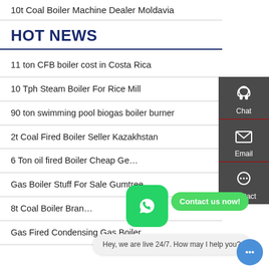10t Coal Boiler Machine Dealer Moldavia
HOT NEWS
11 ton CFB boiler cost in Costa Rica
10 Tph Steam Boiler For Rice Mill
90 ton swimming pool biogas boiler burner
2t Coal Fired Boiler Seller Kazakhstan
6 Ton oil fired Boiler Cheap Ge…
Gas Boiler Stuff For Sale Gumtree
8t Coal Boiler Bran…
Gas Fired Condensing Gas Boiler
[Figure (screenshot): WhatsApp contact widget with green rounded icon, 'Contact us now!' button, and live chat bubble saying 'Hey, we are live 24/7. How may I help you?']
[Figure (infographic): Right sidebar with Chat (headset icon), Email (envelope icon), and Contact (speech bubble icon) buttons on dark gray background]